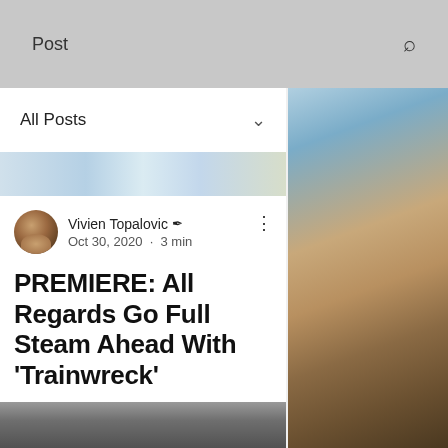Post
All Posts
[Figure (photo): Decorative blue and light abstract image strip at top of post card]
Vivien Topalovic ✍ Oct 30, 2020 · 3 min
PREMIERE: All Regards Go Full Steam Ahead With 'Trainwreck'
[Figure (photo): Blurred sports athlete photo on right side background]
[Figure (photo): Blurred dark image at bottom of page]